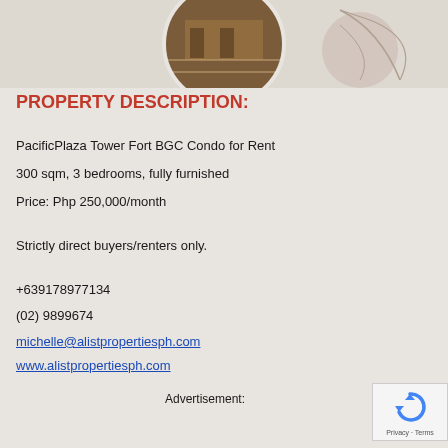[Figure (photo): Top portion of a property listing page showing a circular interior photo of a furnished room with chairs and wooden flooring, overlaid on a beige/taupe background with decorative line art of a leaf/plant.]
PROPERTY DESCRIPTION:
PacificPlaza Tower Fort BGC Condo for Rent
300 sqm, 3 bedrooms, fully furnished
Price: Php 250,000/month
Strictly direct buyers/renters only.
+639178977134
(02) 9899674
michelle@alistpropertiesph.com
www.alistpropertiesph.com
Advertisement:
[Figure (other): reCAPTCHA widget showing the recaptcha logo and Privacy/Terms text]